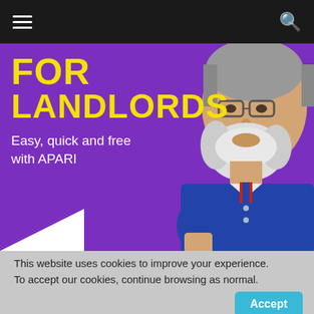Navigation bar with hamburger menu and search icon
[Figure (photo): Promotional banner for landlords featuring yellow bold text 'FOR LANDLORDS' on a purple background with subtitle 'Easy, quick and free with APARI', and a photo of an older bearded man wearing a blue polo shirt on the right side.]
This website uses cookies to improve your experience. To accept our cookies, continue browsing as normal.
Accept